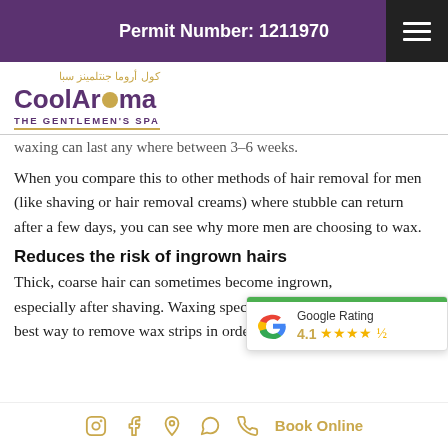Permit Number: 1211970
[Figure (logo): CoolAroma The Gentlemen's Spa logo with Arabic text above]
waxing can last any where between 3-6 weeks.
When you compare this to other methods of hair removal for men (like shaving or hair removal creams) where stubble can return after a few days, you can see why more men are choosing to wax.
Reduces the risk of ingrown hairs
Thick, coarse hair can sometimes become ingrown, especially after shaving. Waxing speci… best way to remove wax strips in orde…
[Figure (infographic): Google Rating widget showing 4.1 stars with green bar at top]
Social media icons (Instagram, Facebook, Location, WhatsApp, Phone) and Book Online link